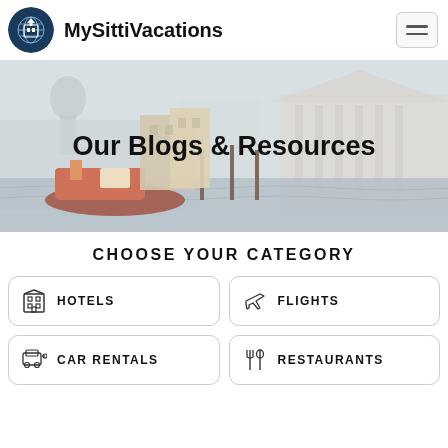MySittiVacations
[Figure (screenshot): Website hero banner showing Venice canal with boats and buildings, overlaid with text 'Our Blogs & Resources']
Our Blogs & Resources
CHOOSE YOUR CATEGORY
HOTELS
FLIGHTS
CAR RENTALS
RESTAURANTS